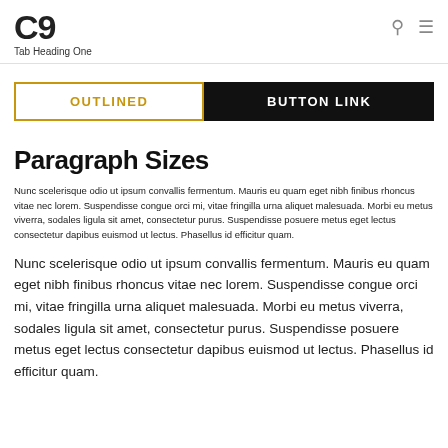C9  Tab Heading One
[Figure (other): Two buttons: an outlined button labeled OUTLINED and a filled black button labeled BUTTON LINK]
Paragraph Sizes
Nunc scelerisque odio ut ipsum convallis fermentum. Mauris eu quam eget nibh finibus rhoncus vitae nec lorem. Suspendisse congue orci mi, vitae fringilla urna aliquet malesuada. Morbi eu metus viverra, sodales ligula sit amet, consectetur purus. Suspendisse posuere metus eget lectus consectetur dapibus euismod ut lectus. Phasellus id efficitur quam.
Nunc scelerisque odio ut ipsum convallis fermentum. Mauris eu quam eget nibh finibus rhoncus vitae nec lorem. Suspendisse congue orci mi, vitae fringilla urna aliquet malesuada. Morbi eu metus viverra, sodales ligula sit amet, consectetur purus. Suspendisse posuere metus eget lectus consectetur dapibus euismod ut lectus. Phasellus id efficitur quam.